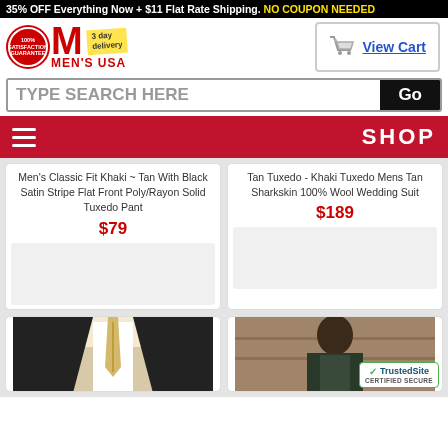35% OFF Everything Now + $11 Flat Rate Shipping. NO COUPON NEEDED
[Figure (logo): Men's USA logo with 100% satisfaction guarantee badge, 3 day delivery tag]
[Figure (other): Shopping cart icon with View Cart link]
TYPE SEARCH HERE
Go
SHOP
Men's Classic Fit Khaki ~ Tan With Black Satin Stripe Flat Front Poly/Rayon Solid Tuxedo Pant
$79
Tan Tuxedo - Khaki Tuxedo Mens Tan Sharkskin 100% Wool Wedding Suit
$189
[Figure (photo): Man wearing black suit with tan/cream tie and shirt]
[Figure (photo): Man in store wearing suit]
[Figure (other): TrustedSite Certified Secure badge]